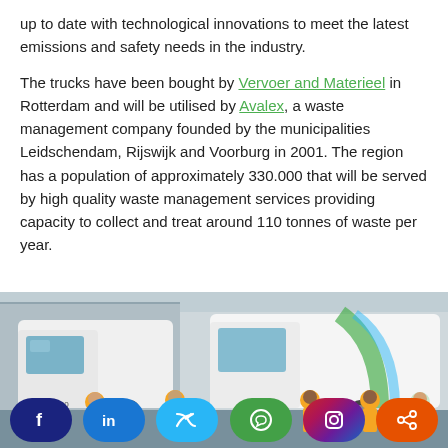up to date with technological innovations to meet the latest emissions and safety needs in the industry.

The trucks have been bought by Vervoer and Materieel in Rotterdam and will be utilised by Avalex, a waste management company founded by the municipalities Leidschendam, Rijswijk and Voorburg in 2001. The region has a population of approximately 330.000 that will be served by high quality waste management services providing capacity to collect and treat around 110 tonnes of waste per year.
[Figure (photo): Photograph of white waste collection trucks with workers in orange hi-vis vests standing in front, parked outside a building. One truck shows the Avalex logo with a curved green/blue stripe.]
Social share buttons: Facebook, LinkedIn, Twitter, WhatsApp, Instagram, Share